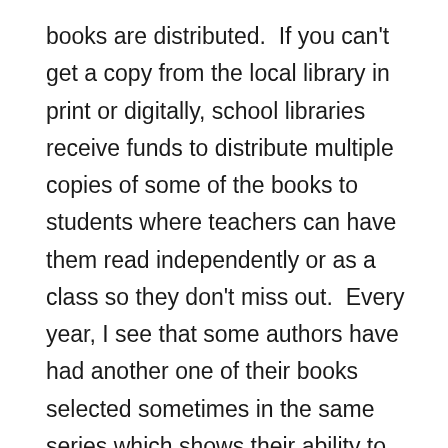books are distributed.  If you can't get a copy from the local library in print or digitally, school libraries receive funds to distribute multiple copies of some of the books to students where teachers can have them read independently or as a class so they don't miss out.  Every year, I see that some authors have had another one of their books selected sometimes in the same series which shows their ability to connect with the committees and students.  Forest of Reading is also great at promoting diverse reads where even tough subject matter is communicated in a way that students can understand and relate to.